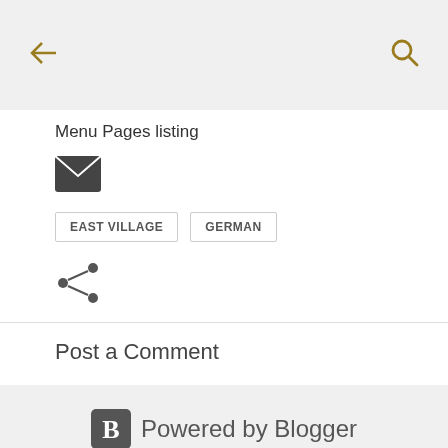← [back arrow] [search icon]
Menu Pages listing
[Figure (illustration): Email/envelope icon (dark background with white envelope outline)]
EAST VILLAGE
GERMAN
[Figure (illustration): Share icon (three connected circles)]
Post a Comment
Powered by Blogger
Theme images by Leadinglights